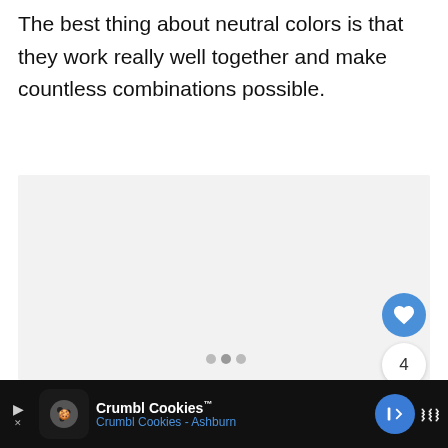The best thing about neutral colors is that they work really well together and make countless combinations possible.
[Figure (other): Image carousel placeholder with light gray background and three dot navigation indicators]
Crumbl Cookies™ Crumbl Cookies - Ashburn [Advertisement bar with app icon, navigation arrow, and Wander app icon]